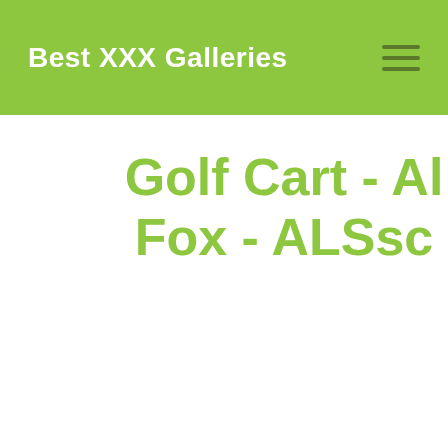Best XXX Galleries
Golf Cart - Al Fox - ALSsc